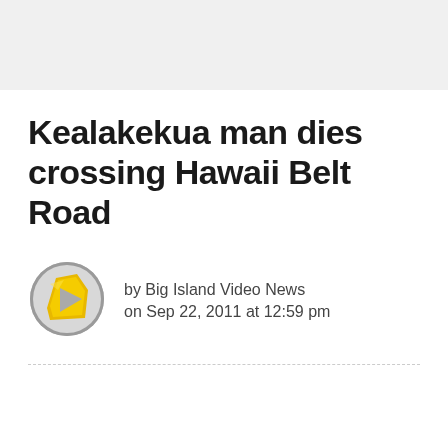Kealakekua man dies crossing Hawaii Belt Road
by Big Island Video News
on Sep 22, 2011 at 12:59 pm